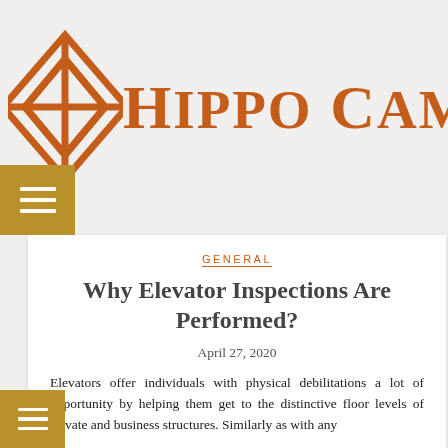Hippo Campes
GENERAL
Why Elevator Inspections Are Performed?
April 27, 2020
Elevators offer individuals with physical debilitations a lot of opportunity by helping them get to the distinctive floor levels of private and business structures. Similarly as with any